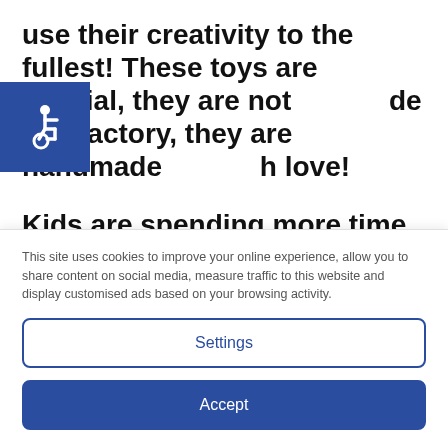use their creativity to the fullest! These toys are special, they are not made in a factory, they are handmade with love!
[Figure (illustration): Blue square accessibility icon showing wheelchair symbol]
Kids are spending more time than ever in front of screens, and child development experts, along with concerned adults, worry that
This site uses cookies to improve your online experience, allow you to share content on social media, measure traffic to this website and display customised ads based on your browsing activity.
Settings
Accept